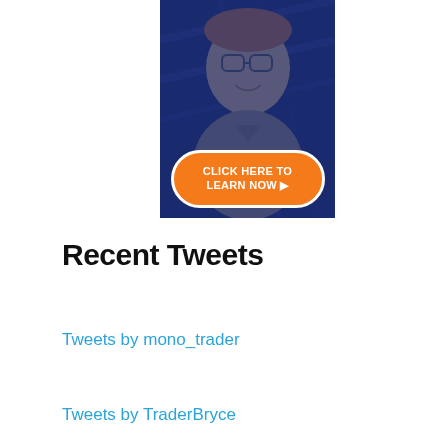[Figure (photo): Advertisement banner showing a smiling young person with glasses wearing a grey polo shirt, arms crossed, against a dark blue background, with an orange 'CLICK HERE TO LEARN NOW' call-to-action button overlaid at the bottom.]
Recent Tweets
Tweets by mono_trader
Tweets by TraderBryce